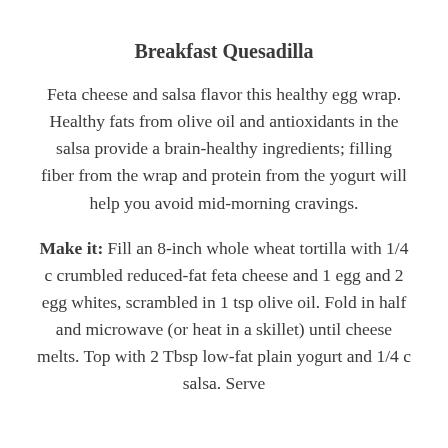Breakfast Quesadilla
Feta cheese and salsa flavor this healthy egg wrap. Healthy fats from olive oil and antioxidants in the salsa provide a brain-healthy ingredients; filling fiber from the wrap and protein from the yogurt will help you avoid mid-morning cravings.
Make it: Fill an 8-inch whole wheat tortilla with 1/4 c crumbled reduced-fat feta cheese and 1 egg and 2 egg whites, scrambled in 1 tsp olive oil. Fold in half and microwave (or heat in a skillet) until cheese melts. Top with 2 Tbsp low-fat plain yogurt and 1/4 c salsa. Serve